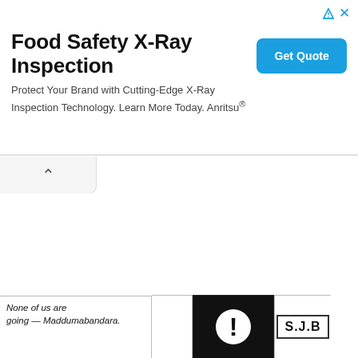[Figure (other): Advertisement banner: 'Food Safety X-Ray Inspection' with subtitle 'Protect Your Brand with Cutting-Edge X-Ray Inspection Technology. Learn More Today. Anritsu®' and a blue 'Get Quote' button on the right. Top-right has ad icons (triangle and X).]
[Figure (illustration): Comic strip panel at the bottom of the page. Left panel shows handwritten text 'None of us are going — Maddumabandara.' Middle panel is blank/white. Right dark panel shows a circular white badge with an exclamation mark. Far right panel shows a label box reading 'S.J.B'.]